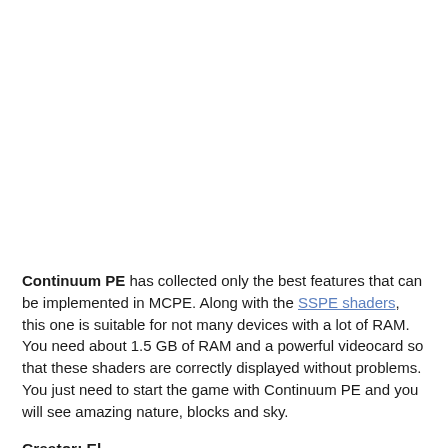Continuum PE has collected only the best features that can be implemented in MCPE. Along with the SSPE shaders, this one is suitable for not many devices with a lot of RAM. You need about 1.5 GB of RAM and a powerful videocard so that these shaders are correctly displayed without problems. You just need to start the game with Continuum PE and you will see amazing nature, blocks and sky.
Creator: El...